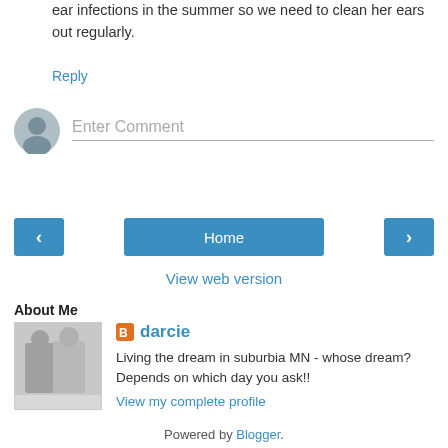ear infections in the summer so we need to clean her ears out regularly.
Reply
Enter Comment
Home
View web version
About Me
[Figure (photo): Black and white photo of two people, a man and a woman]
darcie
Living the dream in suburbia MN - whose dream? Depends on which day you ask!!
View my complete profile
Powered by Blogger.